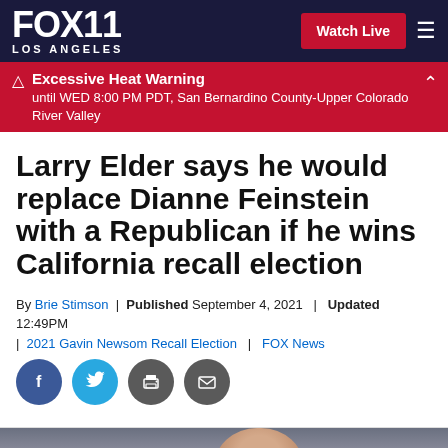FOX 11 LOS ANGELES | Watch Live
Excessive Heat Warning until WED 8:00 PM PDT, San Bernardino County-Upper Colorado River Valley
Larry Elder says he would replace Dianne Feinstein with a Republican if he wins California recall election
By Brie Stimson | Published September 4, 2021 | Updated 12:49PM | 2021 Gavin Newsom Recall Election | FOX News
[Figure (other): Social sharing buttons: Facebook, Twitter, Print, Email]
[Figure (photo): Photo of a person, partially visible at bottom of page]